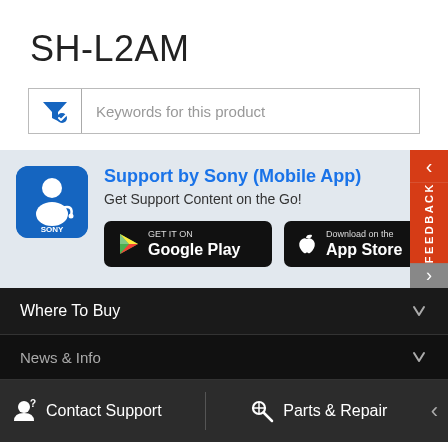SH-L2AM
[Figure (screenshot): Search bar with filter icon and placeholder text 'Keywords for this product']
[Figure (infographic): Support by Sony Mobile App banner with Sony app icon, Google Play and App Store download buttons, and feedback tab on right side]
Where To Buy
News & Info
Contact Support
Parts & Repair